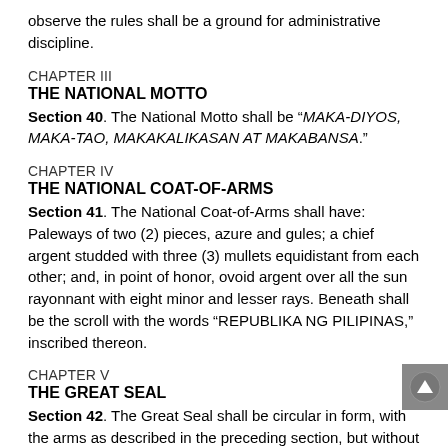observe the rules shall be a ground for administrative discipline.
CHAPTER III
THE NATIONAL MOTTO
Section 40. The National Motto shall be “MAKA-DIYOS, MAKA-TAO, MAKAKALIKASAN AT MAKABANSA.”
CHAPTER IV
THE NATIONAL COAT-OF-ARMS
Section 41. The National Coat-of-Arms shall have: Paleways of two (2) pieces, azure and gules; a chief argent studded with three (3) mullets equidistant from each other; and, in point of honor, ovoid argent over all the sun rayonnant with eight minor and lesser rays. Beneath shall be the scroll with the words “REPUBLIKA NG PILIPINAS,” inscribed thereon.
CHAPTER V
THE GREAT SEAL
Section 42. The Great Seal shall be circular in form, with the arms as described in the preceding section, but without the scroll and the inscription thereon. Surrounding the whole shall be a double